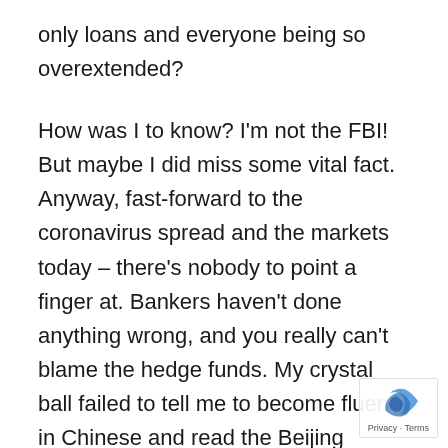only loans and everyone being so overextended?
How was I to know? I'm not the FBI! But maybe I did miss some vital fact. Anyway, fast-forward to the coronavirus spread and the markets today – there's nobody to point a finger at. Bankers haven't done anything wrong, and you really can't blame the hedge funds. My crystal ball failed to tell me to become fluent in Chinese and read the Beijing paper. But they're lying anyway, right?
The only thing that might have foreshadowed this situation was when Apple adjusted its guidance in February and said they were seeing fewer iPhone upgrades and stress in China. The markets adjusted...